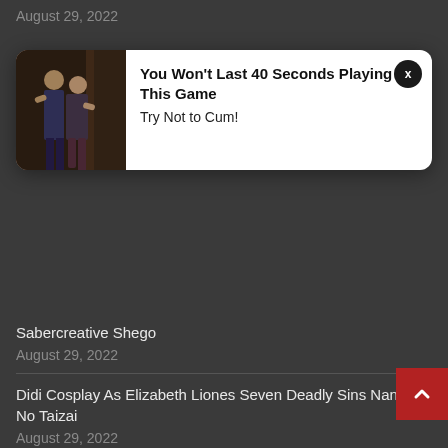August 29, 2022
Sabercreative Shego
August 29, 2022
Didi Cosplay As Elizabeth Liones Seven Deadly Sins Nanatsu No Taizai
August 29, 2022
Asuna By Kayla Erin
August 29, 2022
Me Lewding The Cute Bunny Judy Hopps Kittename On Ig
August 29, 2022
Nier Automata A2 Cosplay Self
August 29, 2022
[Figure (other): Advertisement popup with couple image and text: You Won't Last 40 Seconds Playing This Game - Try Not to Cum!]